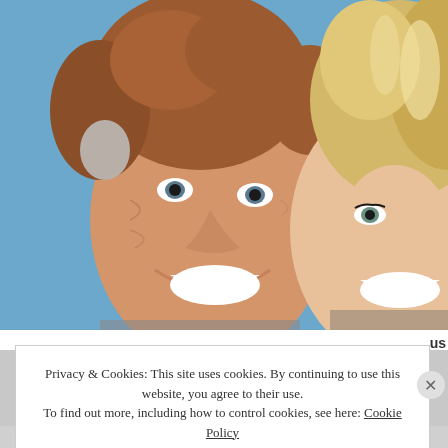[Figure (photo): Close-up photo of two smiling people cheek to cheek. On the left is an older man with curly reddish-brown hair with grey at the temples, wearing a grey jacket. On the right is a blonde woman with highlighted hair, wearing makeup. The background is light blue.]
Privacy & Cookies: This site uses cookies. By continuing to use this website, you agree to their use. To find out more, including how to control cookies, see here: Cookie Policy
Close and accept